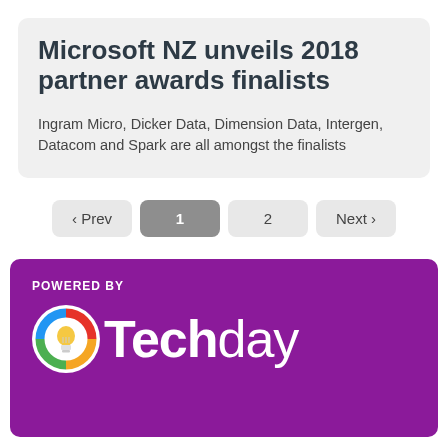Microsoft NZ unveils 2018 partner awards finalists
Ingram Micro, Dicker Data, Dimension Data, Intergen, Datacom and Spark are all amongst the finalists
‹ Prev  1  2  Next ›
POWERED BY
[Figure (logo): Techday logo with colourful light bulb icon and white text on purple background]